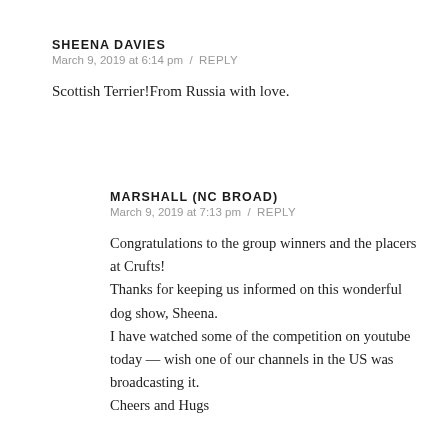SHEENA DAVIES
March 9, 2019 at 6:14 pm  /  REPLY
Scottish Terrier!From Russia with love.
MARSHALL (NC BROAD)
March 9, 2019 at 7:13 pm  /  REPLY
Congratulations to the group winners and the placers at Crufts!
Thanks for keeping us informed on this wonderful dog show, Sheena.
I have watched some of the competition on youtube today — wish one of our channels in the US was broadcasting it.
Cheers and Hugs